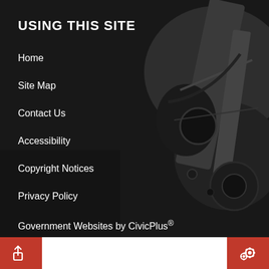USING THIS SITE
Home
Site Map
Contact Us
Accessibility
Copyright Notices
Privacy Policy
Government Websites by CivicPlus®
[Figure (other): Dark background photo of machinery/equipment with overlay]
[Figure (other): Red share icon button at bottom left]
[Figure (other): Red settings/gear icon button at bottom center-right]